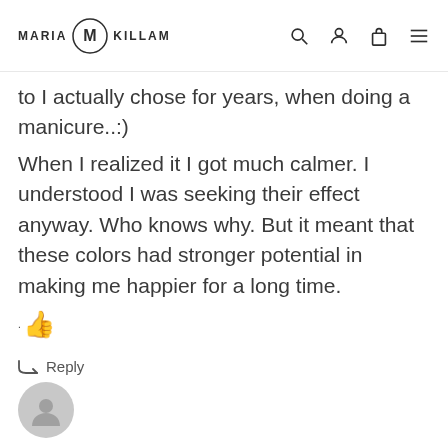MARIA KILLAM
to I actually chose for years, when doing a manicure..:)
When I realized it I got much calmer. I understood I was seeking their effect anyway. Who knows why. But it meant that these colors had stronger potential in making me happier for a long time.
👍
↳ Reply
[Figure (illustration): Generic user avatar circle icon at bottom of page]